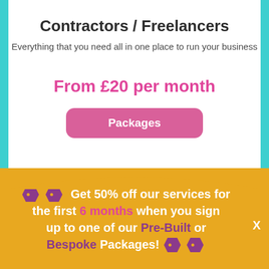Contractors / Freelancers
Everything that you need all in one place to run your business
From £20 per month
Packages
🏷️🏷️ Get 50% off our services for the first 6 months when you sign up to one of our Pre-Built or Bespoke Packages! 🏷️🏷️
X